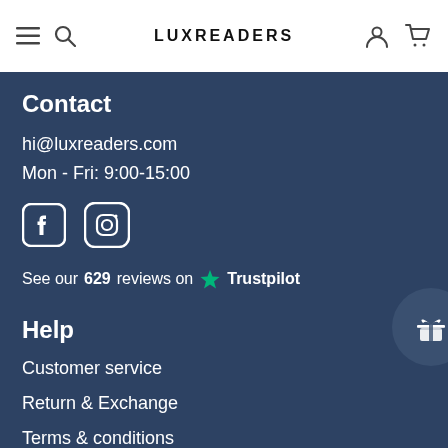LUXREADERS
Contact
hi@luxreaders.com
Mon - Fri: 9:00-15:00
[Figure (other): Social media icons: Facebook and Instagram]
See our 629 reviews on Trustpilot
Help
Customer service
Return & Exchange
Terms & conditions